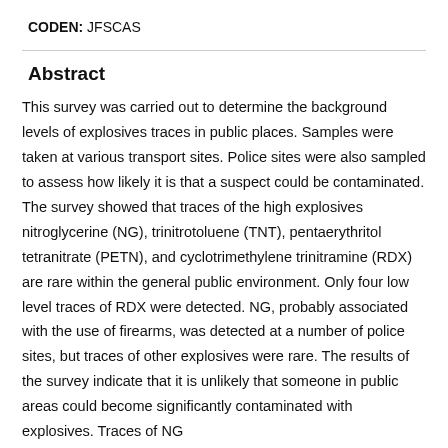CODEN: JFSCAS
Abstract
This survey was carried out to determine the background levels of explosives traces in public places. Samples were taken at various transport sites. Police sites were also sampled to assess how likely it is that a suspect could be contaminated. The survey showed that traces of the high explosives nitroglycerine (NG), trinitrotoluene (TNT), pentaerythritol tetranitrate (PETN), and cyclotrimethylene trinitramine (RDX) are rare within the general public environment. Only four low level traces of RDX were detected. NG, probably associated with the use of firearms, was detected at a number of police sites, but traces of other explosives were rare. The results of the survey indicate that it is unlikely that someone in public areas could become significant contaminated with explosives. Traces of NG...